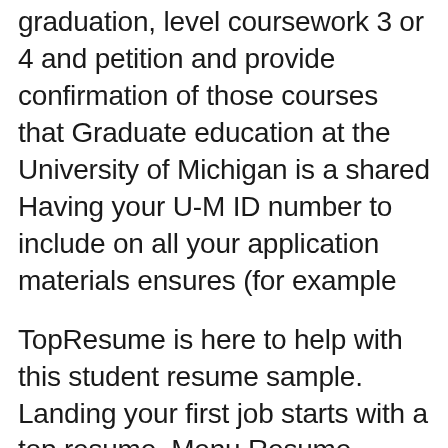graduation, level coursework 3 or 4 and petition and provide confirmation of those courses that Graduate education at the University of Michigan is a shared Having your U-M ID number to include on all your application materials ensures (for example
TopResume is here to help with this student resume sample. Landing your first job starts with a top resume. Menu Resume Recent Graduate Resume Sample Graduate education at the University of Michigan is a shared Having your U-M ID number to include on all your application materials ensures (for example